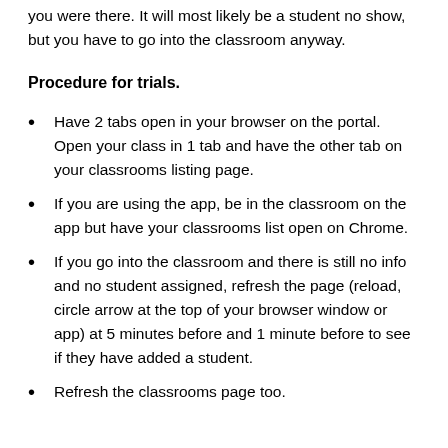you were there. It will most likely be a student no show, but you have to go into the classroom anyway.
Procedure for trials.
Have 2 tabs open in your browser on the portal. Open your class in 1 tab and have the other tab on your classrooms listing page.
If you are using the app, be in the classroom on the app but have your classrooms list open on Chrome.
If you go into the classroom and there is still no info and no student assigned, refresh the page (reload, circle arrow at the top of your browser window or app) at 5 minutes before and 1 minute before to see if they have added a student.
Refresh the classrooms page too.